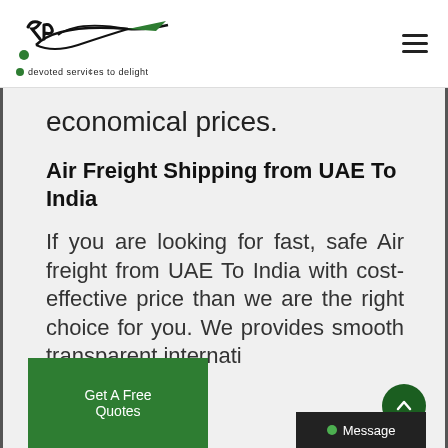AR Devoted Services To Delight - logo and navigation header
economical prices.
Air Freight Shipping from UAE To India
If you are looking for fast, safe Air freight from UAE To India with cost-effective price than we are the right choice for you. We provides smooth transparent international freight forwarding services. We
Get A Free Quotes
Message